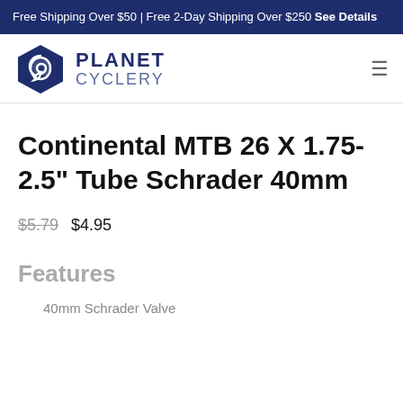Free Shipping Over $50 | Free 2-Day Shipping Over $250 See Details
[Figure (logo): Planet Cyclery logo with hexagonal swirl icon and text PLANET CYCLERY]
Continental MTB 26 X 1.75-2.5" Tube Schrader 40mm
$5.79  $4.95
Features
40mm Schrader Valve